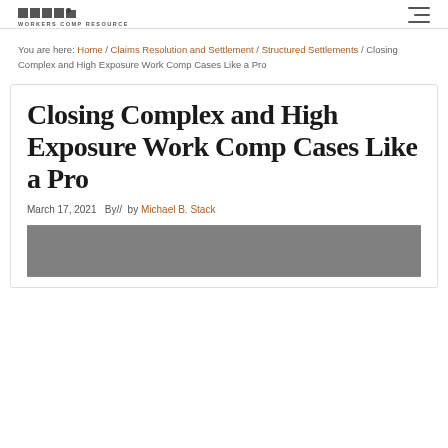WORKERS COMP RESOURCE CENTER
You are here: Home / Claims Resolution and Settlement / Structured Settlements / Closing Complex and High Exposure Work Comp Cases Like a Pro
Closing Complex and High Exposure Work Comp Cases Like a Pro
March 17, 2021  By//  by Michael B. Stack
[Figure (photo): Dark/black and white photograph, partially visible at bottom of page]